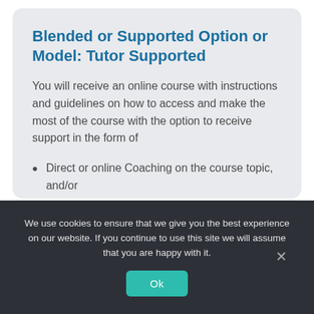Blended or Supported Option or Model: Tutor Supported
You will receive an online course with instructions and guidelines on how to access and make the most of the course with the option to receive support in the form of
Direct or online Coaching on the course topic, and/or
Involvement in a webinar with others
We use cookies to ensure that we give you the best experience on our website. If you continue to use this site we will assume that you are happy with it.